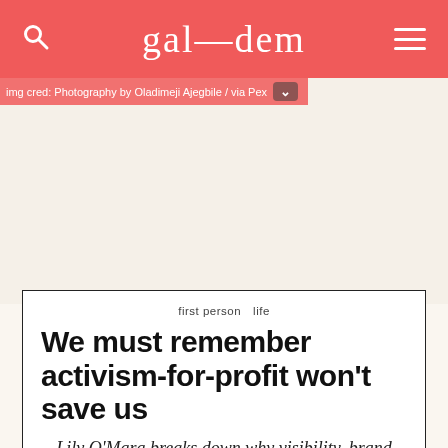gal—dem
img cred: Photography by Oladimeji Ajegbile / via Pex
[Figure (photo): Large image area, appears blank/not loaded]
first person   life
We must remember activism-for-profit won't save us
Lily O'Mara breaks down why visibility, brand partnerships and the commodification